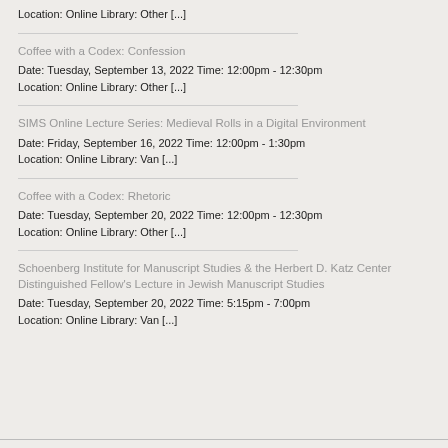Location: Online Library: Other [...]
Coffee with a Codex: Confession
Date: Tuesday, September 13, 2022 Time: 12:00pm - 12:30pm
Location: Online Library: Other [...]
SIMS Online Lecture Series: Medieval Rolls in a Digital Environment
Date: Friday, September 16, 2022 Time: 12:00pm - 1:30pm
Location: Online Library: Van [...]
Coffee with a Codex: Rhetoric
Date: Tuesday, September 20, 2022 Time: 12:00pm - 12:30pm
Location: Online Library: Other [...]
Schoenberg Institute for Manuscript Studies & the Herbert D. Katz Center Distinguished Fellow's Lecture in Jewish Manuscript Studies
Date: Tuesday, September 20, 2022 Time: 5:15pm - 7:00pm
Location: Online Library: Van [...]